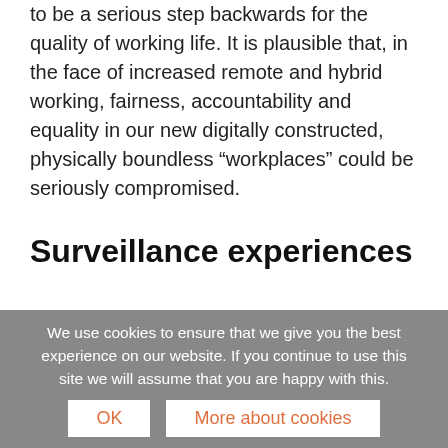to be a serious step backwards for the quality of working life. It is plausible that, in the face of increased remote and hybrid working, fairness, accountability and equality in our new digitally constructed, physically boundless “workplaces” could be seriously compromised.
Surveillance experiences
In reviewing results of the Prospect/Opinium
We use cookies to ensure that we give you the best experience on our website. If you continue to use this site we will assume that you are happy with this.
OK
More about cookies